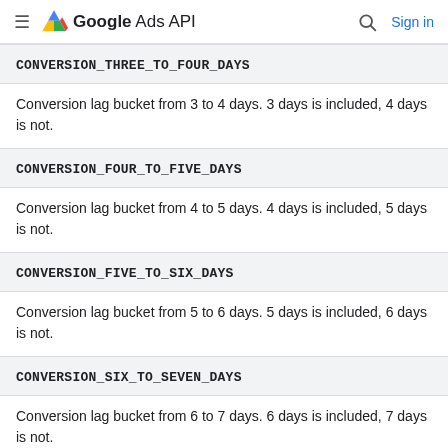Google Ads API
CONVERSION_THREE_TO_FOUR_DAYS
Conversion lag bucket from 3 to 4 days. 3 days is included, 4 days is not.
CONVERSION_FOUR_TO_FIVE_DAYS
Conversion lag bucket from 4 to 5 days. 4 days is included, 5 days is not.
CONVERSION_FIVE_TO_SIX_DAYS
Conversion lag bucket from 5 to 6 days. 5 days is included, 6 days is not.
CONVERSION_SIX_TO_SEVEN_DAYS
Conversion lag bucket from 6 to 7 days. 6 days is included, 7 days is not.
CONVERSION_SEVEN_TO_EIGHT_DAYS
Conversion lag bucket from 7 to 8 days. 7 days is included, 8